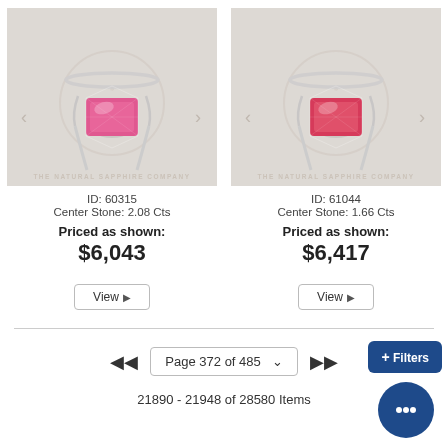[Figure (photo): Pink sapphire emerald-cut solitaire ring on white metal band, shown on light grey background with The Natural Sapphire Company watermark]
ID: 60315
Center Stone: 2.08 Cts
Priced as shown:
$6,043
[Figure (photo): Pink-red sapphire emerald-cut solitaire ring on white metal band, shown on light grey background with The Natural Sapphire Company watermark]
ID: 61044
Center Stone: 1.66 Cts
Priced as shown:
$6,417
Page 372 of 485
21890 - 21948 of 28580 Items